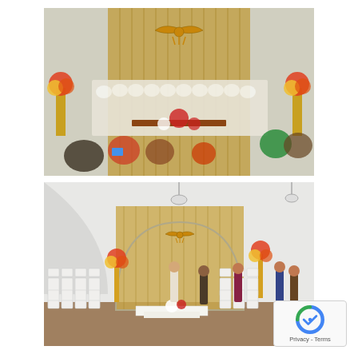[Figure (photo): Indoor Zoroastrian ceremony with many people dressed in white robes seated in a large hall decorated with gold curtains, a Faravahar symbol above the stage, and floral arrangements with red, yellow, and white flowers on both sides.]
[Figure (photo): Empty ceremony hall interior showing white folding chairs arranged in rows, arched white walls, chandeliers, gold curtains at the back with a Faravahar symbol, floral arrangements on golden stands, and a few people standing around preparing the space. A reCAPTCHA badge is visible in the bottom right corner.]